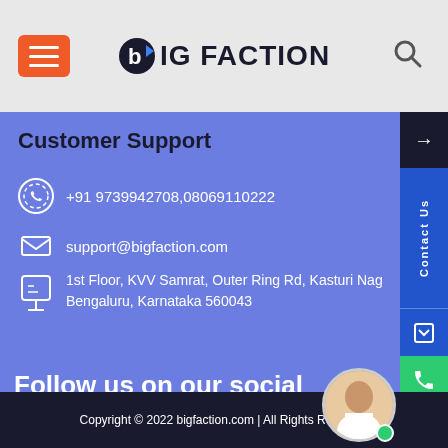[Figure (logo): BIG FACTION logo with hamburger menu icon and search icon in gray header]
Customer Support
+91 9739942708,08069110222
support@bigfaction.com
1st Floor, KVV Samrat, Outer Ring Rd, Kasturi Nag
Bengaluru, Karnataka 560043
Follow us on our social networks
[Figure (infographic): Social media icons: Facebook, Twitter, Instagram, YouTube in white circles on blue background]
Copyright © 2022 bigfaction.com | All Rights Reserved